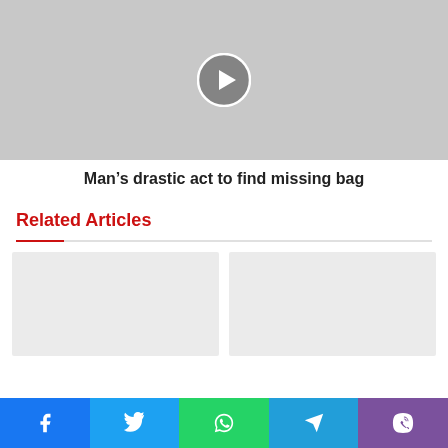[Figure (screenshot): Video thumbnail placeholder — gray rectangle with a white circular play button (right-pointing chevron)]
Man’s drastic act to find missing bag
Related Articles
[Figure (photo): Left related article image placeholder — light gray rectangle]
[Figure (photo): Right related article image placeholder — light gray rectangle]
[Figure (infographic): Social share bar with five buttons: Facebook (blue), Twitter (cyan), WhatsApp (green), Telegram (blue), Viber (purple)]